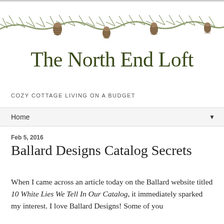[Figure (illustration): Pine branch garland with pine cones decorating the top of the blog header]
The North End Loft
COZY COTTAGE LIVING ON A BUDGET
Home ▼
Feb 5, 2016
Ballard Designs Catalog Secrets
When I came across an article today on the Ballard website titled 10 White Lies We Tell In Our Catalog, it immediately sparked my interest. I love Ballard Designs! Some of you